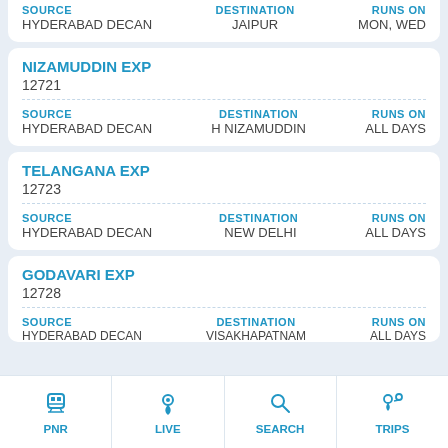| SOURCE | DESTINATION | RUNS ON |
| --- | --- | --- |
| HYDERABAD DECAN | JAIPUR | MON, WED |
NIZAMUDDIN EXP
12721
| SOURCE | DESTINATION | RUNS ON |
| --- | --- | --- |
| HYDERABAD DECAN | H NIZAMUDDIN | ALL DAYS |
TELANGANA EXP
12723
| SOURCE | DESTINATION | RUNS ON |
| --- | --- | --- |
| HYDERABAD DECAN | NEW DELHI | ALL DAYS |
GODAVARI EXP
12728
| SOURCE | DESTINATION | RUNS ON |
| --- | --- | --- |
| HYDERABAD DECAN | VISAKHAPATNAM | ALL DAYS |
PNR  LIVE  SEARCH  TRIPS